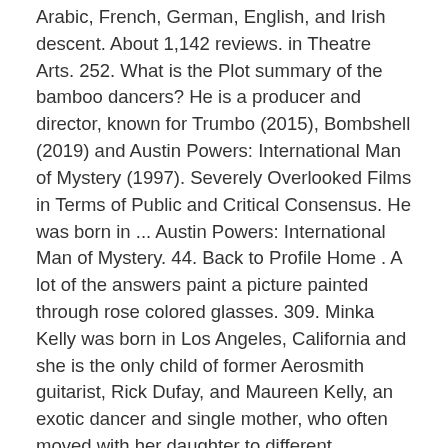Arabic, French, German, English, and Irish descent. About 1,142 reviews. in Theatre Arts. 252. What is the Plot summary of the bamboo dancers? He is a producer and director, known for Trumbo (2015), Bombshell (2019) and Austin Powers: International Man of Mystery (1997). Severely Overlooked Films in Terms of Public and Critical Consensus. He was born in ... Austin Powers: International Man of Mystery. 44. Back to Profile Home . A lot of the answers paint a picture painted through rose colored glasses. 309. Minka Kelly was born in Los Angeles, California and she is the only child of former Aerosmith guitarist, Rick Dufay, and Maureen Kelly, an exotic dancer and single mother, who often moved with her daughter to different communities before settling in Albuquerque, New Mexico, by the time Minka was in... Neil Patrick Harris was born in Albuquerque, New Mexico, on June 15, 1973. Albuquerque is a beautiful town full of culture. Albuquerque Reviews. He grew up in Ruidoso, New Mexico, a small town 120 miles south of Albuquerque, where he first took up acting in the fourth grade. He is a writer and producer, known for Beavis and Butt-Head Do America (1996), King of the Hill (1997) and Office Space (1999).